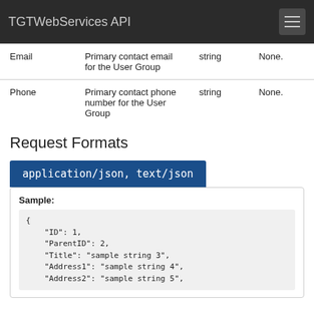TGTWebServices API
| Parameter | Description | Type | Default |
| --- | --- | --- | --- |
| Email | Primary contact email for the User Group | string | None. |
| Phone | Primary contact phone number for the User Group | string | None. |
Request Formats
application/json, text/json
Sample:
{
    "ID": 1,
    "ParentID": 2,
    "Title": "sample string 3",
    "Address1": "sample string 4",
    "Address2": "sample string 5",